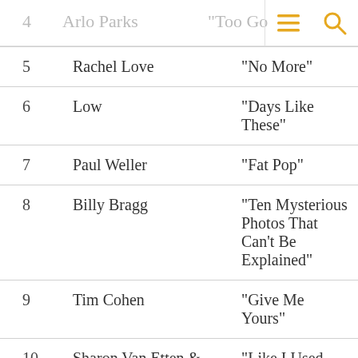4  Arlo Parks  "Too Good"
| # | Artist | Song |
| --- | --- | --- |
| 5 | Rachel Love | "No More" |
| 6 | Low | "Days Like These" |
| 7 | Paul Weller | "Fat Pop" |
| 8 | Billy Bragg | "Ten Mysterious Photos That Can't Be Explained" |
| 9 | Tim Cohen | "Give Me Yours" |
| 10 | Sharon Van Etten & Angel Olsen | "Like I Used To" |
| 11 | Karen Peris | "Superhero" |
| 12 | The Lodger | "Perfect Fit" |